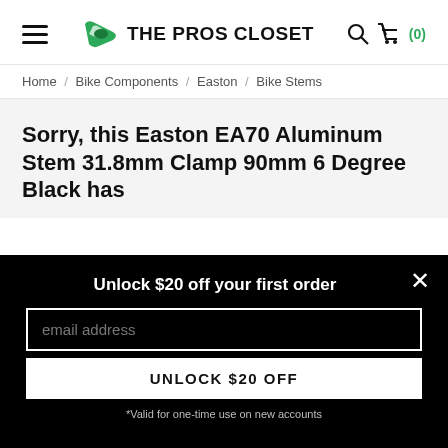THE PROS CLOSET
Home / Bike Components / Easton / Bike Stems
Sorry, this Easton EA70 Aluminum Stem 31.8mm Clamp 90mm 6 Degree Black has
Unlock $20 off your first order
email address
UNLOCK $20 OFF
*Valid for one-time use on new accounts